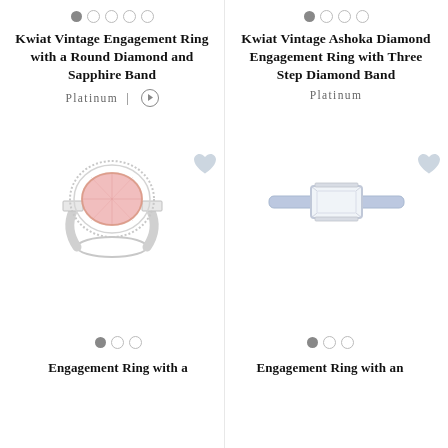[Figure (other): Carousel dot indicators: one filled gray dot, four empty circles]
Kwiat Vintage Engagement Ring with a Round Diamond and Sapphire Band
Platinum | ▶
[Figure (other): Carousel dot indicators: one filled gray dot, three empty circles]
Kwiat Vintage Ashoka Diamond Engagement Ring with Three Step Diamond Band
Platinum
[Figure (photo): Pink cushion-cut diamond engagement ring with halo and baguette side stones]
[Figure (photo): Emerald-cut diamond engagement ring with lavender/blue sapphire band]
[Figure (other): Carousel dot indicators: one filled gray dot, two empty circles]
Engagement Ring with a
[Figure (other): Carousel dot indicators: one filled gray dot, two empty circles]
Engagement Ring with an